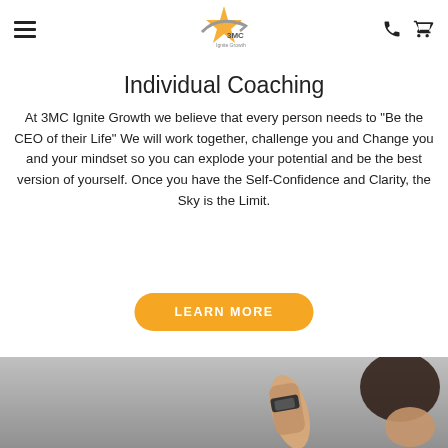3MC Ignite Growth — navigation header with logo, hamburger menu, phone icon, cart icon
Individual Coaching
At 3MC Ignite Growth we believe that every person needs to "Be the CEO of their Life" We will work together, challenge you and Change you and your mindset so you can explode your potential and be the best version of yourself. Once you have the Self-Confidence and Clarity, the Sky is the Limit.
LEARN MORE
[Figure (photo): Photo of two people's hands/wrists against a grey background, appearing to be in a coaching or handshake interaction.]